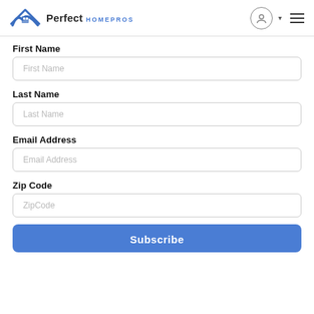Perfect HOMEPROS
First Name
Last Name
Email Address
Zip Code
Subscribe